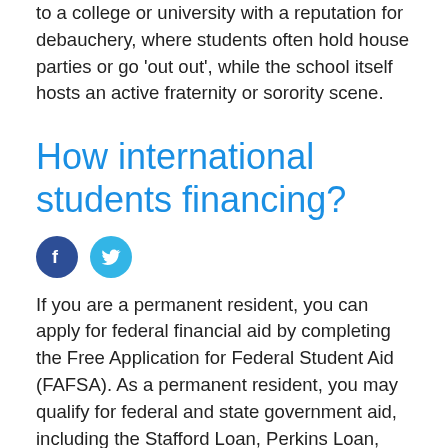to a college or university with a reputation for debauchery, where students often hold house parties or go 'out out', while the school itself hosts an active fraternity or sorority scene.
How international students financing?
[Figure (infographic): Facebook and Twitter social media share icons]
If you are a permanent resident, you can apply for federal financial aid by completing the Free Application for Federal Student Aid (FAFSA). As a permanent resident, you may qualify for federal and state government aid, including the Stafford Loan, Perkins Loan, PLUS Loan, Pell Grant, SEOG Grant, or Federal Work-Study.